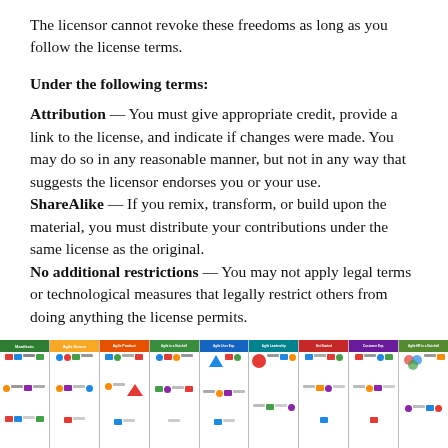The licensor cannot revoke these freedoms as long as you follow the license terms.
Under the following terms:
Attribution — You must give appropriate credit, provide a link to the license, and indicate if changes were made. You may do so in any reasonable manner, but not in any way that suggests the licensor endorses you or your use. ShareAlike — If you remix, transform, or build upon the material, you must distribute your contributions under the same license as the original. No additional restrictions — You may not apply legal terms or technological measures that legally restrict others from doing anything the license permits.
[Figure (photo): A horizontal strip of multiple colorful reference card/cheat sheet booklets displayed side by side, covering topics like Agile, Scrum, Customer Experience, and related subjects.]